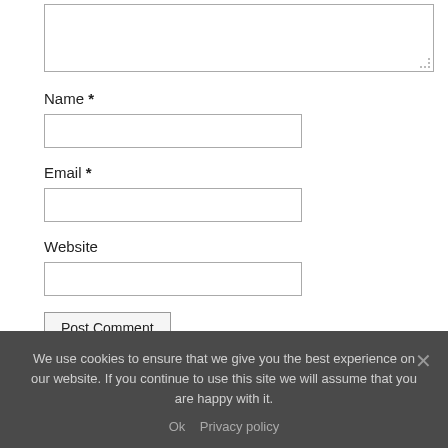Name *
Email *
Website
Post Comment
We use cookies to ensure that we give you the best experience on our website. If you continue to use this site we will assume that you are happy with it.
Ok   Privacy policy